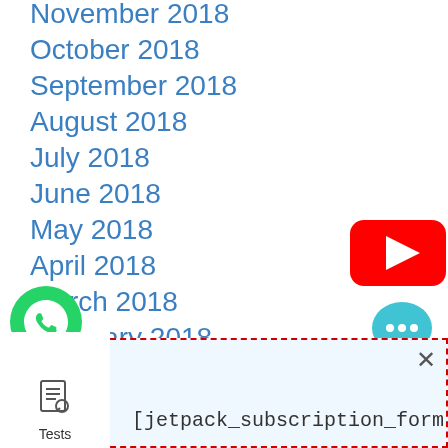November 2018
October 2018
September 2018
August 2018
July 2018
June 2018
May 2018
April 2018
March 2018
February 2018
January 2018
December 2017
[Figure (logo): YouTube play button logo (red rounded rectangle with white triangle)]
[Figure (logo): WhatsApp icon (green circle with white phone handset)]
[Figure (logo): Chat bubble icon (teal/blue with three dots)]
[jetpack_subscription_form
[Figure (screenshot): Popup box with dashed red border containing jetpack subscription form shortcode and close button]
Tests